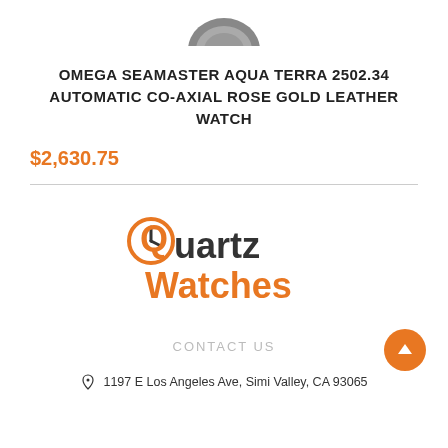[Figure (photo): Partial top view of an Omega Seamaster Aqua Terra watch, cropped at top of page]
OMEGA SEAMASTER AQUA TERRA 2502.34 AUTOMATIC CO-AXIAL ROSE GOLD LEATHER WATCH
$2,630.75
[Figure (logo): Quartz Watches logo with orange clock icon and text 'Quartz Watches']
CONTACT US
1197 E Los Angeles Ave, Simi Valley, CA 93065